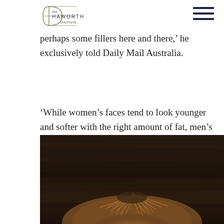the Haworth Institute
perhaps some fillers here and there,' he exclusively told Daily Mail Australia.
'While women's faces tend to look younger and softer with the right amount of fat, men's faces tend to look better with weight loss,' he said.
[Figure (photo): Close-up photo of the top of a person's head showing brown hair against a dark wooden background]